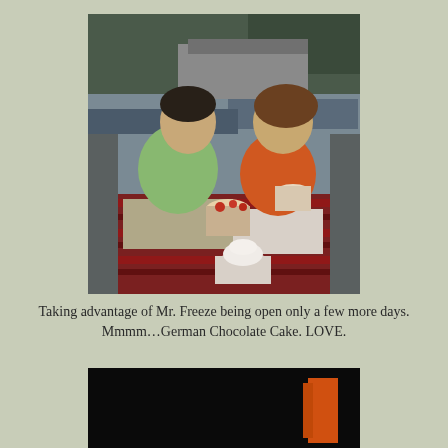[Figure (photo): Two young children sitting on the back of a truck or tailgate, eating ice cream desserts from cups. A boy in a green shirt on the left and a girl in an orange shirt on the right. A striped blanket is under them. Buildings and trees visible in background.]
Taking advantage of Mr. Freeze being open only a few more days.  Mmmm…German Chocolate Cake.  LOVE.
[Figure (photo): Partially visible photo at the bottom of the page, mostly dark/black with an orange object visible on the right side.]